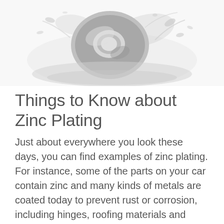[Figure (photo): Black and white photo of a metallic ring or washer splashing in water, viewed from above, with water droplets spraying around it.]
Things to Know about Zinc Plating
Just about everywhere you look these days, you can find examples of zinc plating. For instance, some of the parts on your car contain zinc and many kinds of metals are coated today to prevent rust or corrosion, including hinges, roofing materials and outdoor fasteners. Zinc